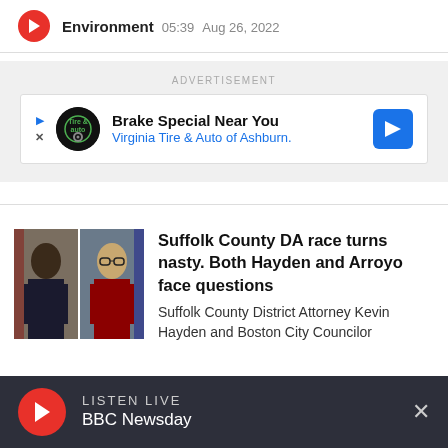Environment  05:39  Aug 26, 2022
[Figure (infographic): Advertisement banner: Brake Special Near You – Virginia Tire & Auto of Ashburn.]
[Figure (photo): Two men in suits side by side: Suffolk County DA Kevin Hayden and Boston City Councilor Arroyo]
Suffolk County DA race turns nasty. Both Hayden and Arroyo face questions
Suffolk County District Attorney Kevin Hayden and Boston City Councilor
LISTEN LIVE  BBC Newsday